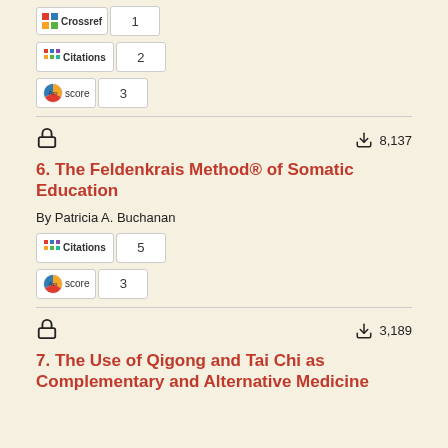[Figure (other): Crossref badge with number 1]
[Figure (other): Citations badge with number 2]
[Figure (other): Altmetric score badge with number 3]
6. The Feldenkrais Method® of Somatic Education
By Patricia A. Buchanan
[Figure (other): Citations badge with number 5]
[Figure (other): Altmetric score badge with number 3]
7. The Use of Qigong and Tai Chi as Complementary and Alternative Medicine